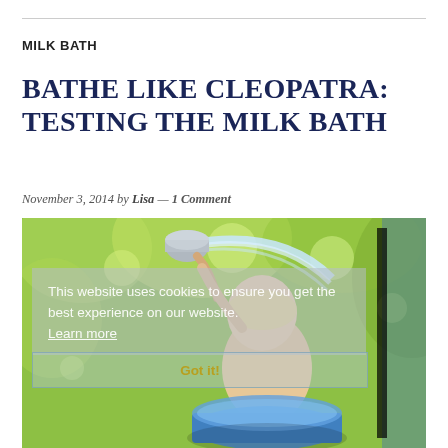MILK BATH
BATHE LIKE CLEOPATRA: TESTING THE MILK BATH
November 3, 2014 by Lisa — 1 Comment
[Figure (photo): Baby sitting in a small blue tub outdoors, pouring water from a metal cup, with green bokeh background. A cookie consent overlay reads: 'This website uses cookies to ensure you get the best experience on our website. Learn more' with a 'Got it!' button.]